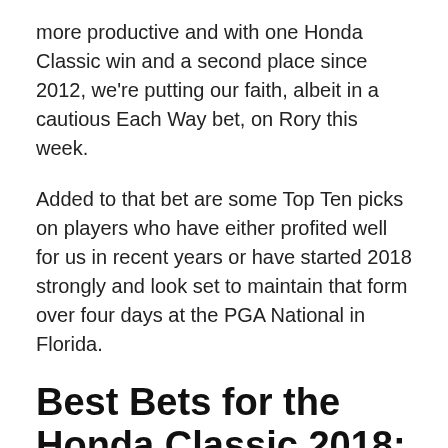more productive and with one Honda Classic win and a second place since 2012, we're putting our faith, albeit in a cautious Each Way bet, on Rory this week.
Added to that bet are some Top Ten picks on players who have either profited well for us in recent years or have started 2018 strongly and look set to maintain that form over four days at the PGA National in Florida.
Best Bets for the Honda Classic 2018:
Rory McIlroy Each Way at 12/1 with SportingBet